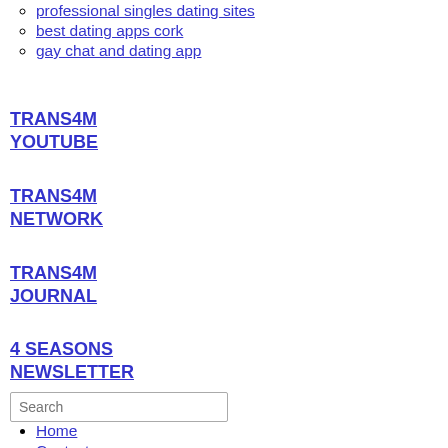professional singles dating sites
best dating apps cork
gay chat and dating app
TRANS4M YOUTUBE
TRANS4M NETWORK
TRANS4M JOURNAL
4 SEASONS NEWSLETTER
Search
Home
Contact
Credits